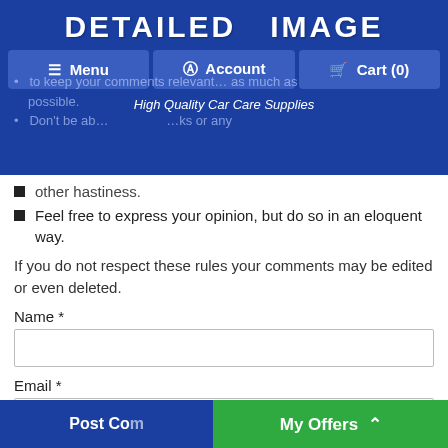DETAILED IMAGE — High Quality Car Care Supplies — Menu | Account | Cart (0)
Don't be abusive, use insults or any other hastiness.
Feel free to express your opinion, but do so in an eloquent way.
If you do not respect these rules your comments may be edited or even deleted.
Name *
Email *
Website
Notify me of follow-up comments by email.
Post Comment | My Offers